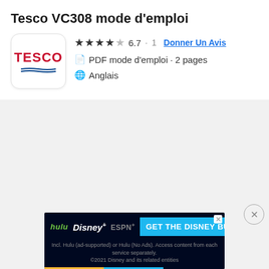Tesco VC308 mode d'emploi
[Figure (logo): Tesco brand logo — red bold text 'TESCO' with blue wavy underlines, on white rounded square background]
★★★½☆ 6.7 · 1  Donner Un Avis
📄 PDF mode d'emploi · 2 pages
🌐 Anglais
[Figure (screenshot): Ad banner: Hulu, Disney+, ESPN+ — GET THE DISNEY BUNDLE. Incl. Hulu (ad-supported) or Hulu (No Ads). Access content from each service separately. ©2021 Disney and its related entities]